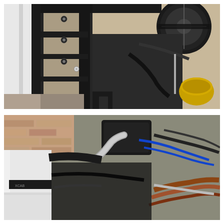[Figure (photo): Close-up photograph of a vehicle engine bay showing black metal bracket/frame structure with bolts and fasteners, a serpentine belt pulley visible in the upper right, hoses and mechanical components, and a yellow oil filter or cap visible on the right side. The vehicle body (white) is visible on the left. Background shows concrete/asphalt ground.]
[Figure (photo): Photograph of a vehicle engine bay viewed from the front, showing a complex arrangement of hoses, wires, and engine components including a black engine cover, silver/chrome piping, blue and black hoses, and heat-shielded exhaust components. A white vehicle body panel is visible on the left, and a brick wall is visible in the upper left background.]